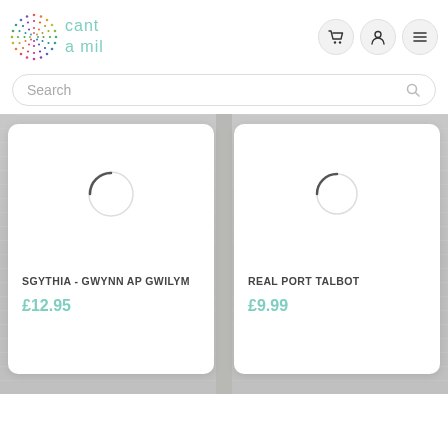[Figure (logo): Cant a mil logo with colorful circular dot pattern and teal handwritten text]
Search
[Figure (screenshot): Product card showing SGYTHIA - GWYNN AP GWILYM for £12.95 with loading circle image placeholder]
[Figure (screenshot): Product card showing REAL PORT TALBOT for £9.99 with loading circle image placeholder]